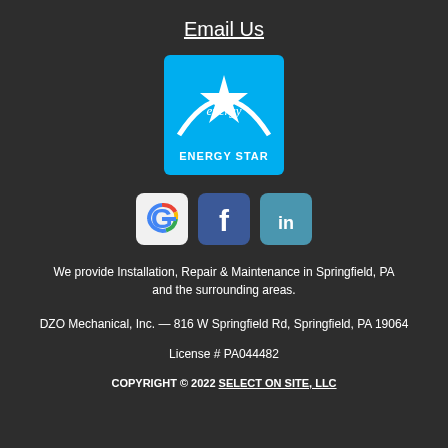Email Us
[Figure (logo): Energy Star logo — blue square with white arc and star, text ENERGY STAR below]
[Figure (logo): Three social media icons: Google (G), Facebook (f), LinkedIn (in)]
We provide Installation, Repair & Maintenance in Springfield, PA and the surrounding areas.
DZO Mechanical, Inc. — 816 W Springfield Rd, Springfield, PA 19064
License # PA044482
COPYRIGHT © 2022 SELECT ON SITE, LLC